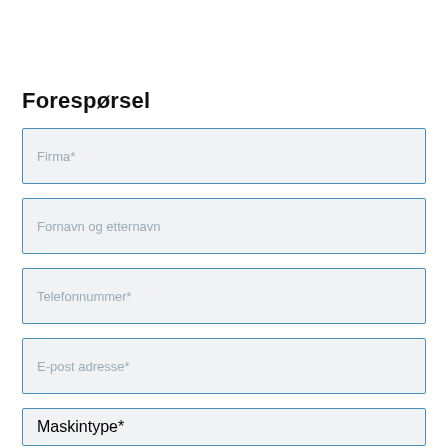Forespørsel
Firma*
Fornavn og etternavn
Telefonnummer*
E-post adresse*
Maskintype*